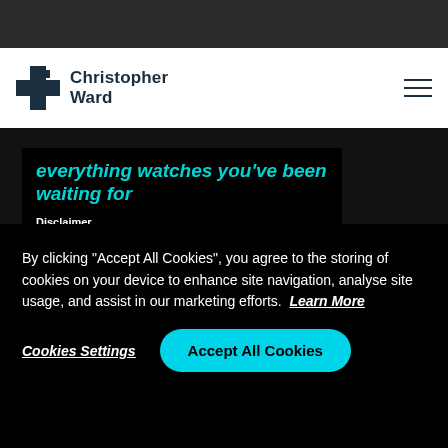[Figure (logo): Christopher Ward brand logo with cross/grid icon and text 'Christopher Ward']
everything watches you've been waiting for
Disclaimer
The product video was shot before we introduced the twin-flags logo
By clicking “Accept All Cookies”, you agree to the storing of cookies on your device to enhance site navigation, analyse site usage, and assist in our marketing efforts.  Learn More
Cookies Settings
Accept All Cookies